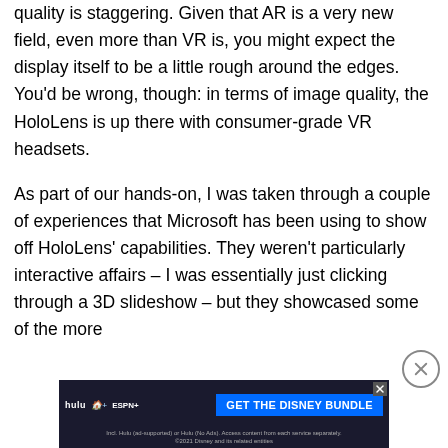quality is staggering. Given that AR is a very new field, even more than VR is, you might expect the display itself to be a little rough around the edges. You'd be wrong, though: in terms of image quality, the HoloLens is up there with consumer-grade VR headsets.
As part of our hands-on, I was taken through a couple of experiences that Microsoft has been using to show off HoloLens' capabilities. They weren't particularly interactive affairs – I was essentially just clicking through a 3D slideshow – but they showcased some of the more
[Figure (other): Advertisement banner for Disney Bundle (Hulu, Disney+, ESPN+) with blue CTA button 'GET THE DISNEY BUNDLE' and small disclaimer text. Close button (X) in corner.]